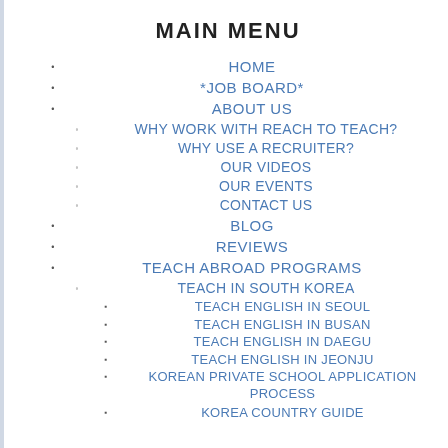MAIN MENU
HOME
*JOB BOARD*
ABOUT US
WHY WORK WITH REACH TO TEACH?
WHY USE A RECRUITER?
OUR VIDEOS
OUR EVENTS
CONTACT US
BLOG
REVIEWS
TEACH ABROAD PROGRAMS
TEACH IN SOUTH KOREA
TEACH ENGLISH IN SEOUL
TEACH ENGLISH IN BUSAN
TEACH ENGLISH IN DAEGU
TEACH ENGLISH IN JEONJU
KOREAN PRIVATE SCHOOL APPLICATION PROCESS
KOREA COUNTRY GUIDE